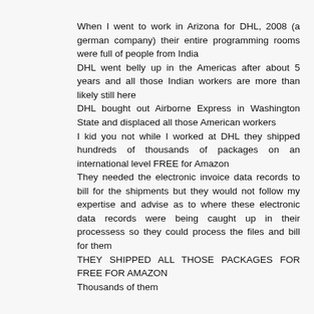When I went to work in Arizona for DHL, 2008 (a german company) their entire programming rooms were full of people from India
DHL went belly up in the Americas after about 5 years and all those Indian workers are more than likely still here
DHL bought out Airborne Express in Washington State and displaced all those American workers
I kid you not while I worked at DHL they shipped hundreds of thousands of packages on an international level FREE for Amazon
They needed the electronic invoice data records to bill for the shipments but they would not follow my expertise and advise as to where these electronic data records were being caught up in their processess so they could process the files and bill for them
THEY SHIPPED ALL THOSE PACKAGES FOR FREE FOR AMAZON
Thousands of them